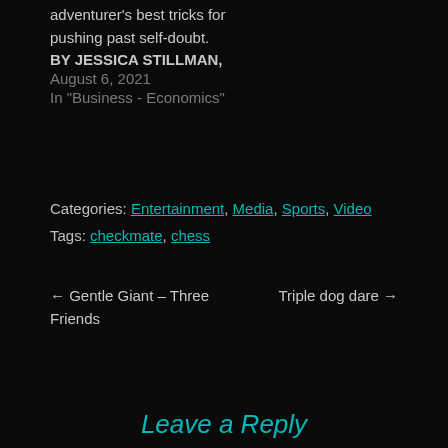adventurer's best tricks for pushing past self-doubt.
BY JESSICA STILLMAN,
August 6, 2021
In "Business - Economics"
Categories: Entertainment, Media, Sports, Video
Tags: checkmate, chess
← Gentle Giant – Three Friends
Triple dog dare →
Leave a Reply